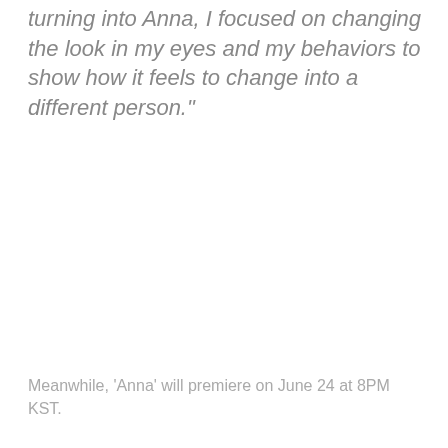turning into Anna, I focused on changing the look in my eyes and my behaviors to show how it feels to change into a different person."
Meanwhile, 'Anna' will premiere on June 24 at 8PM KST.